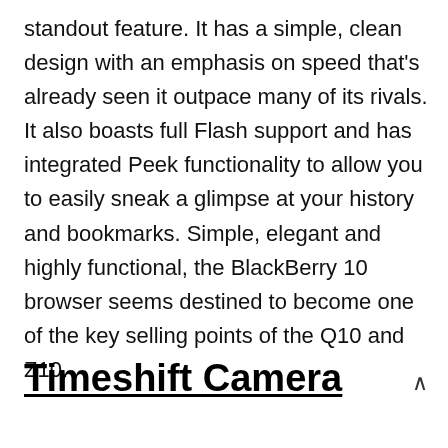standout feature. It has a simple, clean design with an emphasis on speed that's already seen it outpace many of its rivals. It also boasts full Flash support and has integrated Peek functionality to allow you to easily sneak a glimpse at your history and bookmarks. Simple, elegant and highly functional, the BlackBerry 10 browser seems destined to become one of the key selling points of the Q10 and Z10.
Timeshift Camera